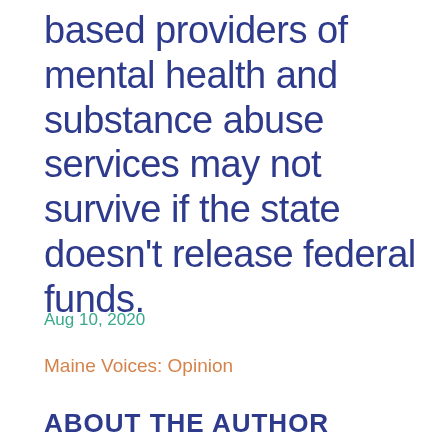based providers of mental health and substance abuse services may not survive if the state doesn't release federal funds.
Aug 10, 2020
Maine Voices: Opinion
ABOUT THE AUTHOR